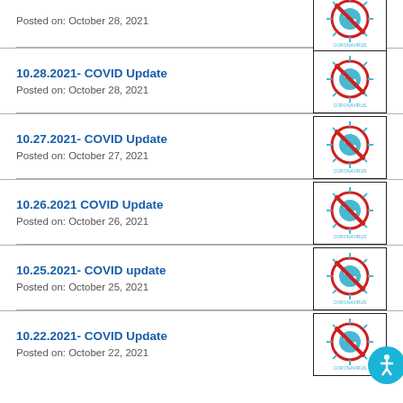Posted on: October 28, 2021
[Figure (illustration): Coronavirus no symbol icon - red circle with diagonal slash over blue virus illustration, text CORONAVIRUS below]
10.28.2021- COVID Update
Posted on: October 28, 2021
[Figure (illustration): Coronavirus no symbol icon]
10.27.2021- COVID Update
Posted on: October 27, 2021
[Figure (illustration): Coronavirus no symbol icon]
10.26.2021 COVID Update
Posted on: October 26, 2021
[Figure (illustration): Coronavirus no symbol icon]
10.25.2021- COVID update
Posted on: October 25, 2021
[Figure (illustration): Coronavirus no symbol icon]
10.22.2021- COVID Update
Posted on: October 22, 2021
[Figure (illustration): Coronavirus no symbol icon with accessibility icon overlay]